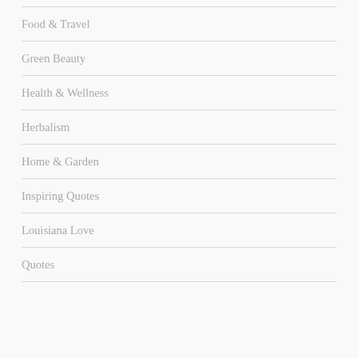Food & Travel
Green Beauty
Health & Wellness
Herbalism
Home & Garden
Inspiring Quotes
Louisiana Love
Quotes